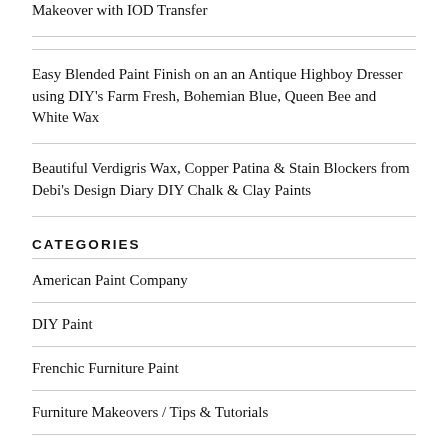Makeover with IOD Transfer
Easy Blended Paint Finish on an an Antique Highboy Dresser using DIY's Farm Fresh, Bohemian Blue, Queen Bee and White Wax
Beautiful Verdigris Wax, Copper Patina & Stain Blockers from Debi's Design Diary DIY Chalk & Clay Paints
CATEGORIES
American Paint Company
DIY Paint
Frenchic Furniture Paint
Furniture Makeovers / Tips & Tutorials
Misc.